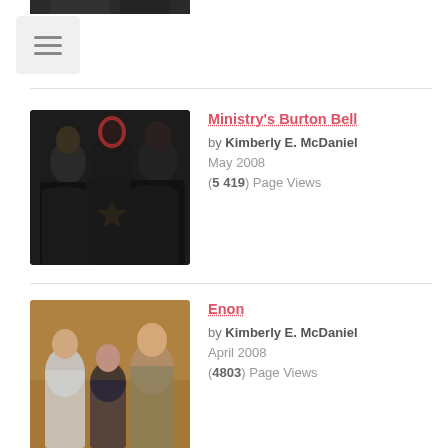[Figure (photo): Partial top image of musicians, cropped at top of page]
[Figure (other): Hamburger menu button with three horizontal lines]
[Figure (photo): Photo of Ministry band members in dark clothing]
Ministry's Burton Bell
by Kimberly E. McDaniel
May 2008
(5419) Page Views
[Figure (photo): Photo of Enon band members]
Enon
by Kimberly E. McDaniel
April 2008
(4803) Page Views